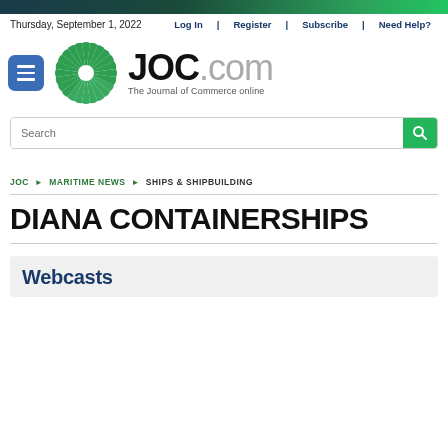Thursday, September 1, 2022
Log In | Register | Subscribe | Need Help?
[Figure (logo): JOC.com logo with green spiral/fan graphic and tagline 'The Journal of Commerce online']
Search
JOC ▶ MARITIME NEWS ▶ SHIPS & SHIPBUILDING
DIANA CONTAINERSHIPS
Webcasts